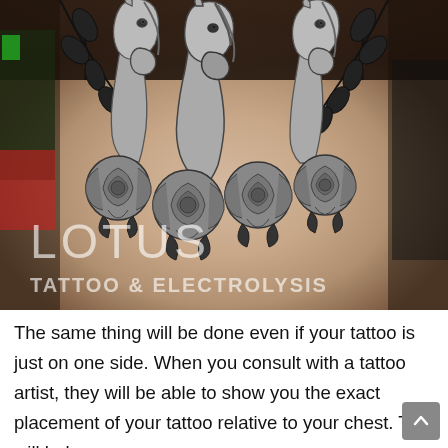[Figure (photo): A chest tattoo featuring three horse heads in the center upper area, surrounded by floral vine branches, with a row of large rose flowers below the horses. The tattoo is done in black and grey shading. A watermark reads 'LOTUS TATTOO & ELECTROLYSIS' in the lower left of the photo.]
The same thing will be done even if your tattoo is just on one side. When you consult with a tattoo artist, they will be able to show you the exact placement of your tattoo relative to your chest. This will help you